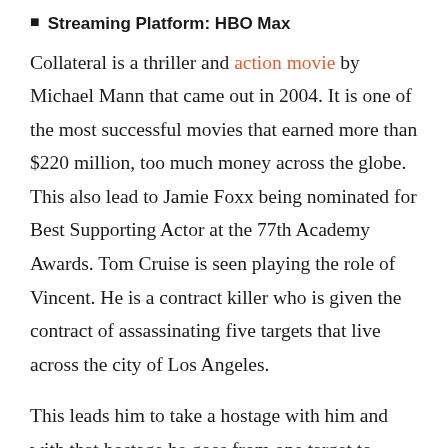Streaming Platform: HBO Max
Collateral is a thriller and action movie by Michael Mann that came out in 2004. It is one of the most successful movies that earned more than $220 million, too much money across the globe. This also lead to Jamie Foxx being nominated for Best Supporting Actor at the 77th Academy Awards. Tom Cruise is seen playing the role of Vincent. He is a contract killer who is given the contract of assassinating five targets that live across the city of Los Angeles.
This leads him to take a hostage with him and with that hostage he goes from one target to another. Max is a taxi driver (played by Foxx) who dreams of starting his own business someday. Collateral is one of the most